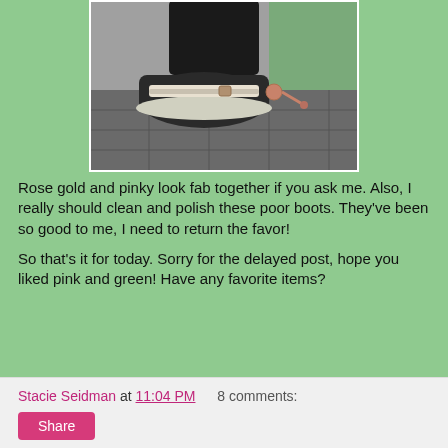[Figure (photo): Close-up photo of a boot/riding boot on a tiled floor with a rose gold spur attached, green foliage visible in background]
Rose gold and pinky look fab together if you ask me. Also, I really should clean and polish these poor boots. They've been so good to me, I need to return the favor!
So that's it for today. Sorry for the delayed post, hope you liked pink and green! Have any favorite items?
Stacie Seidman at 11:04 PM   8 comments:  Share